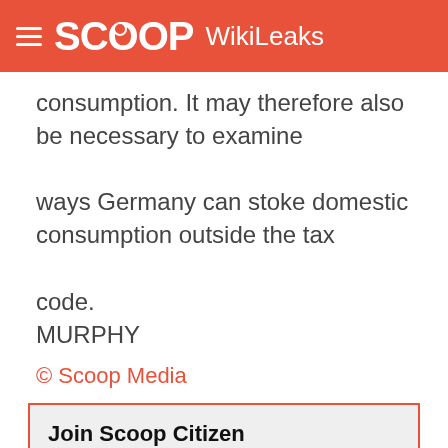SCOOP WikiLeaks
consumption. It may therefore also be necessary to examine
ways Germany can stoke domestic consumption outside the tax
code.
MURPHY
© Scoop Media
Join Scoop Citizen
Scoop is a champion of independent journalism and open publishing - informing New Zealanders through straight talking independent journalism...